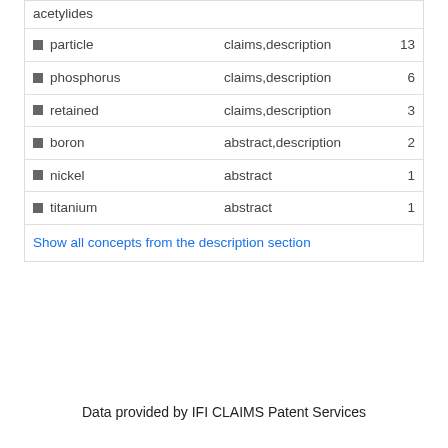| Term | Section | Count |
| --- | --- | --- |
| acetylides |  |  |
| ■ particle | claims,description | 13 |
| ■ phosphorus | claims,description | 6 |
| ■ retained | claims,description | 3 |
| ■ boron | abstract,description | 2 |
| ■ nickel | abstract | 1 |
| ■ titanium | abstract | 1 |
| Show all concepts from the description section |  |  |
Data provided by IFI CLAIMS Patent Services